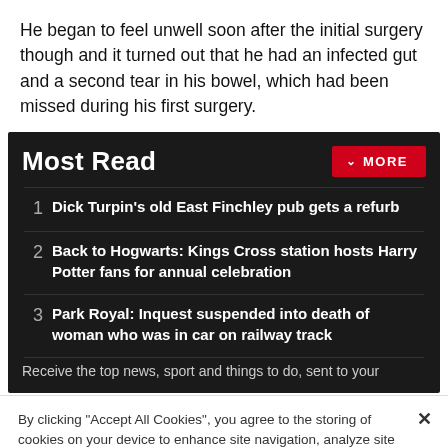He began to feel unwell soon after the initial surgery though and it turned out that he had an infected gut and a second tear in his bowel, which had been missed during his first surgery.
Most Read
1  Dick Turpin's old East Finchley pub gets a refurb
2  Back to Hogwarts: Kings Cross station hosts Harry Potter fans for annual celebration
3  Park Royal: Inquest suspended into death of woman who was in car on railway track
Receive the top news, sport and things to do, sent to your
By clicking "Accept All Cookies", you agree to the storing of cookies on your device to enhance site navigation, analyze site usage, and assist in our marketing efforts.